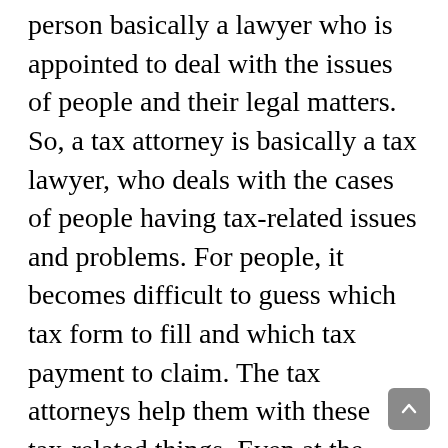person basically a lawyer who is appointed to deal with the issues of people and their legal matters. So, a tax attorney is basically a tax lawyer, who deals with the cases of people having tax-related issues and problems. For people, it becomes difficult to guess which tax form to fill and which tax payment to claim. The tax attorneys help them with these tax-related things. Even at the start, the tax lawyer salary is very high. It is estimated that the average tax attorney salary at the start of their career is 97,559 dollars annually. This salary increases with the increase of experience and with the increase of their popularity and fame among their clients.